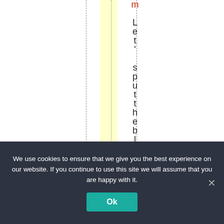[Figure (screenshot): A webpage snippet showing vertical rotated/stacked text reading 'm Let's put the blame w' with a yellow highlighted column, dashed and dotted vertical lines on a white background.]
We use cookies to ensure that we give you the best experience on our website. If you continue to use this site we will assume that you are happy with it.